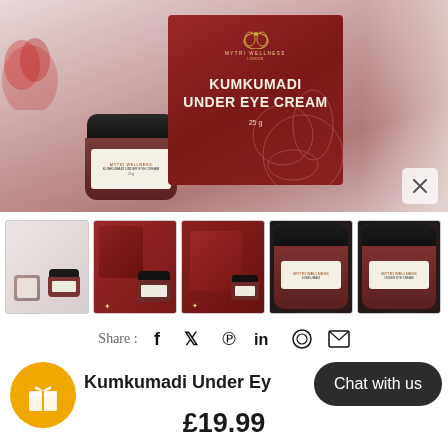[Figure (photo): Product photo of Mytri Wellness Kumkumadi Under Eye Cream: amber glass jar with black lid and white label on left, dark red branded box on right, against a light background with a red rose accent]
[Figure (photo): Five thumbnail images of the Kumkumadi Under Eye Cream product showing different angles: light background pair, dark red box with jar, dark red box front, close-up jar, close-up jar side]
Share : f  🐦  P  in  ⊙  ✉
Kumkumadi Under Eye Cream
Chat with us
£19.99